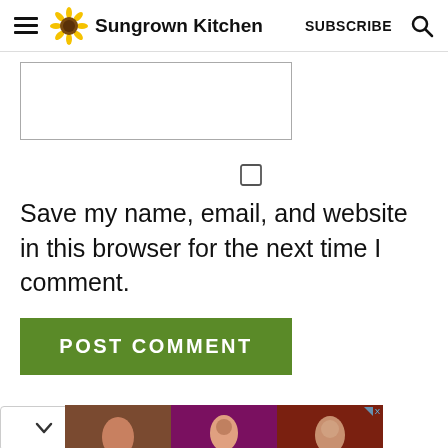Sungrown Kitchen  SUBSCRIBE
[Figure (screenshot): Website form partial with text input box, checkbox, save name/email/website label, POST COMMENT button, dropdown widget, and advertisement banner for FIT X HOT TOPIC]
Save my name, email, and website in this browser for the next time I comment.
POST COMMENT
[Figure (photo): Advertisement banner: FIT X HOT TOPIC with SHOP NOW button, showing three photos of people in band/dark fashion clothing]